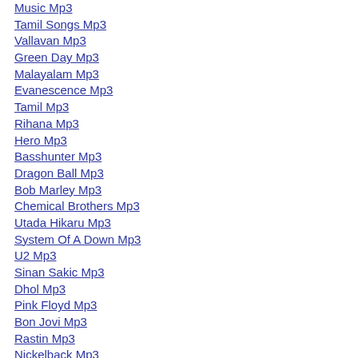Music Mp3
Tamil Songs Mp3
Vallavan Mp3
Green Day Mp3
Malayalam Mp3
Evanescence Mp3
Tamil Mp3
Rihana Mp3
Hero Mp3
Basshunter Mp3
Dragon Ball Mp3
Bob Marley Mp3
Chemical Brothers Mp3
Utada Hikaru Mp3
System Of A Down Mp3
U2 Mp3
Sinan Sakic Mp3
Dhol Mp3
Pink Floyd Mp3
Bon Jovi Mp3
Rastin Mp3
Nickelback Mp3
Fall Out Boy Mp3
Soldiers Of Allah Mp3
Chemical Brothers Mp3